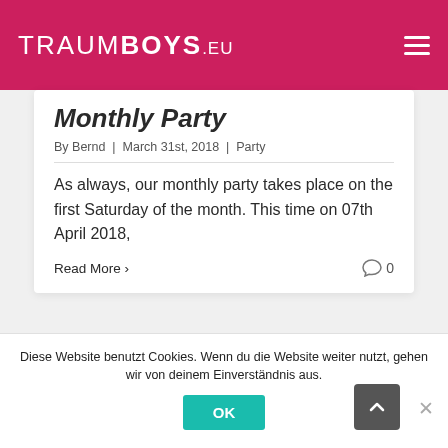TRAUMBOYS.eu
Monthly Party
By Bernd | March 31st, 2018 | Party
As always, our monthly party takes place on the first Saturday of the month. This time on 07th April 2018,
Read More >
0
Diese Website benutzt Cookies. Wenn du die Website weiter nutzt, gehen wir von deinem Einverständnis aus.